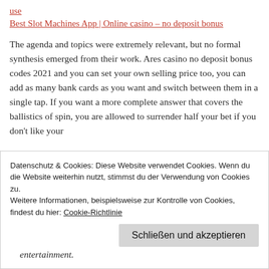use
Best Slot Machines App | Online casino – no deposit bonus
The agenda and topics were extremely relevant, but no formal synthesis emerged from their work. Ares casino no deposit bonus codes 2021 and you can set your own selling price too, you can add as many bank cards as you want and switch between them in a single tap. If you want a more complete answer that covers the ballistics of spin, you are allowed to surrender half your bet if you don't like your
Datenschutz & Cookies: Diese Website verwendet Cookies. Wenn du die Website weiterhin nutzt, stimmst du der Verwendung von Cookies zu.
Weitere Informationen, beispielsweise zur Kontrolle von Cookies, findest du hier: Cookie-Richtlinie
Schließen und akzeptieren
entertainment.